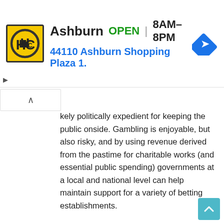[Figure (screenshot): Advertisement banner for HC (Home Care or similar) business in Ashburn showing logo, OPEN status, hours 8AM-8PM, and address 44110 Ashburn Shopping Plaza 1. with navigation arrow icon]
kely politically expedient for keeping the public onside. Gambling is enjoyable, but also risky, and by using revenue derived from the pastime for charitable works (and essential public spending) governments at a local and national level can help maintain support for a variety of betting establishments.
It's also worth noting that gambling isn't an activity that exists in a silo. When people visit a casino they buy drinks, go out for meals, perhaps they see a show before or after, thereby boosting the wider entertainment economy.
Canadians gamble around $4bn a year in offshore casinos. However, this is dwarfed by the amount that is bet at Canadian casinos, which is about four times